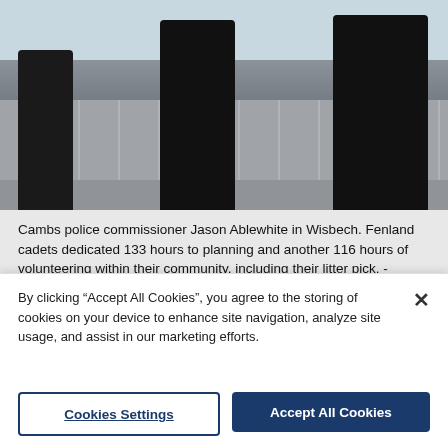[Figure (photo): Cambs police commissioner Jason Ablewhite with Fenland cadets in Wisbech, including a litter pick. Three people in black uniforms/polo shirts are shown outdoors on a tiled public space; one holds a large orange/red bin bag.]
Cambs police commissioner Jason Ablewhite in Wisbech. Fenland cadets dedicated 133 hours to planning and another 116 hours of volunteering within their community, including their litter pick. - Credit: Archant
“I was really pleased with the way the group conducted themselves at their recent trip to Buckingham Palace, a
By clicking “Accept All Cookies”, you agree to the storing of cookies on your device to enhance site navigation, analyze site usage, and assist in our marketing efforts.